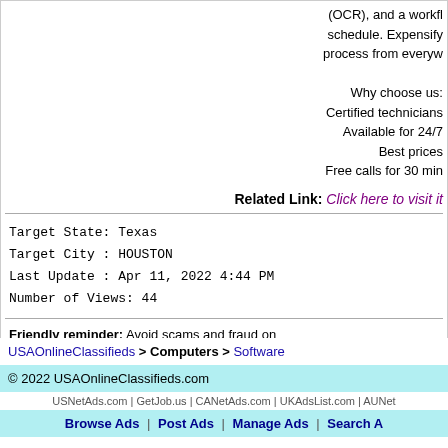(OCR), and a workflow schedule. Expensify process from everyw
Why choose us:
Certified technicians
Available for 24/7
Best prices
Free calls for 30 min
Related Link: Click here to visit it
Target State: Texas
Target City : HOUSTON
Last Update : Apr 11, 2022 4:44 PM
Number of Views: 44
Friendly reminder: Avoid scams and fraud on
USAOnlineClassifieds > Computers > Software
© 2022 USAOnlineClassifieds.com
USNetAds.com | GetJob.us | CANetAds.com | UKAdsList.com | AUNet
Browse Ads | Post Ads | Manage Ads | Search A